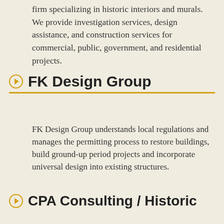firm specializing in historic interiors and murals. We provide investigation services, design assistance, and construction services for commercial, public, government, and residential projects.
FK Design Group
FK Design Group understands local regulations and manages the permitting process to restore buildings, build ground-up period projects and incorporate universal design into existing structures.
CPA Consulting / Historic